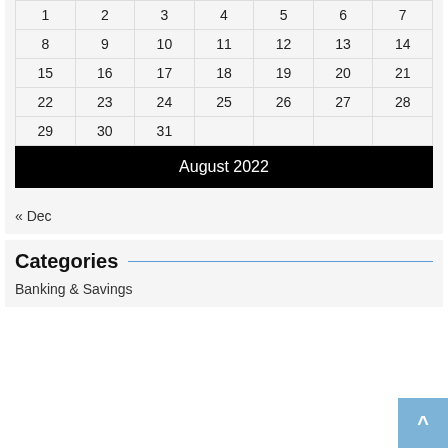| 1 | 2 | 3 | 4 | 5 | 6 | 7 |
| 8 | 9 | 10 | 11 | 12 | 13 | 14 |
| 15 | 16 | 17 | 18 | 19 | 20 | 21 |
| 22 | 23 | 24 | 25 | 26 | 27 | 28 |
| 29 | 30 | 31 |  |  |  |  |
August 2022
« Dec
Categories
Banking & Savings